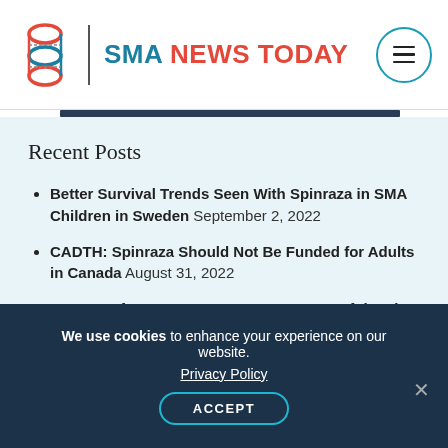SMA NEWS TODAY
Recent Posts
Better Survival Trends Seen With Spinraza in SMA Children in Sweden September 2, 2022
CADTH: Spinraza Should Not Be Funded for Adults in Canada August 31, 2022
31 Days of SMA: How to Become Successful and Independent August 31, 2022
31 Days of SMA: Why We Will Never Give Up August 30, 2022
We use cookies to enhance your experience on our website. Privacy Policy ACCEPT